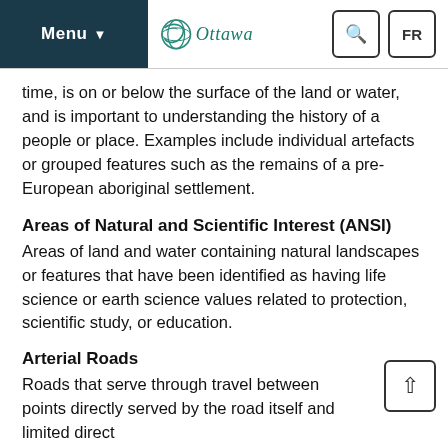Menu | Ottawa | Search | FR
time, is on or below the surface of the land or water, and is important to understanding the history of a people or place. Examples include individual artefacts or grouped features such as the remains of a pre-European aboriginal settlement.
Areas of Natural and Scientific Interest (ANSI)
Areas of land and water containing natural landscapes or features that have been identified as having life science or earth science values related to protection, scientific study, or education.
Arterial Roads
Roads that serve through travel between points directly served by the road itself and limited direct